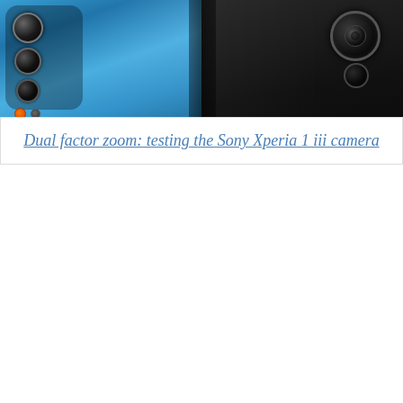[Figure (photo): Two smartphones photographed from behind showing camera modules. Left phone is blue (iPhone-like) with triple camera array and orange flash dot. Right phone is dark/black with a circular camera lens visible.]
Dual factor zoom: testing the Sony Xperia 1 iii camera